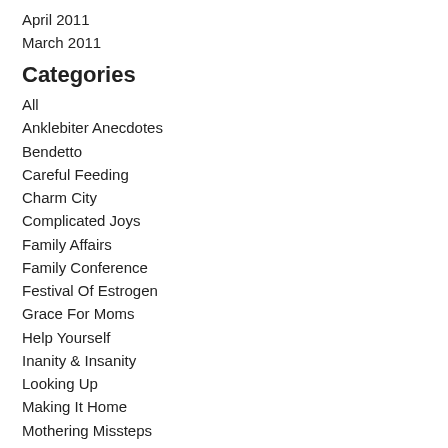April 2011
March 2011
Categories
All
Anklebiter Anecdotes
Bendetto
Careful Feeding
Charm City
Complicated Joys
Family Affairs
Family Conference
Festival Of Estrogen
Grace For Moms
Help Yourself
Inanity & Insanity
Looking Up
Making It Home
Mothering Missteps
Moving Onward
Music City